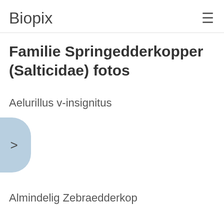Biopix
Familie Springedderkopper (Salticidae) fotos
Aelurillus v-insignitus
[Figure (illustration): Blue rounded navigation button with a right-pointing chevron arrow (>) on the left edge of the page]
Almindelig Zebraedderkop